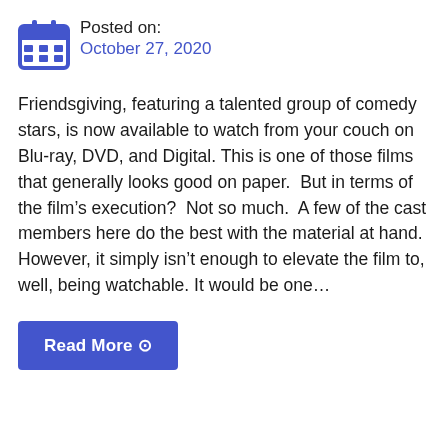Posted on:
October 27, 2020
Friendsgiving, featuring a talented group of comedy stars, is now available to watch from your couch on Blu-ray, DVD, and Digital. This is one of those films that generally looks good on paper.  But in terms of the film’s execution?  Not so much.  A few of the cast members here do the best with the material at hand.  However, it simply isn’t enough to elevate the film to, well, being watchable. It would be one…
Read More ⊙